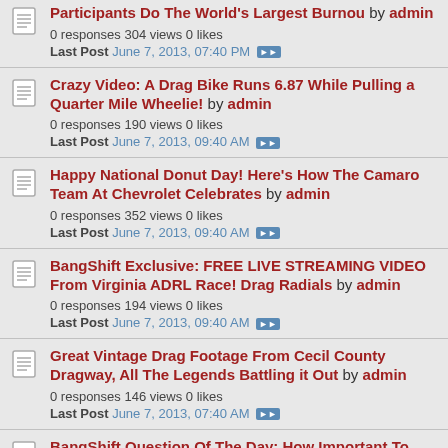Participants Do The World's Largest Burnou by admin
0 responses 304 views 0 likes
Last Post June 7, 2013, 07:40 PM
Crazy Video: A Drag Bike Runs 6.87 While Pulling a Quarter Mile Wheelie! by admin
0 responses 190 views 0 likes
Last Post June 7, 2013, 09:40 AM
Happy National Donut Day! Here's How The Camaro Team At Chevrolet Celebrates by admin
0 responses 352 views 0 likes
Last Post June 7, 2013, 09:40 AM
BangShift Exclusive: FREE LIVE STREAMING VIDEO From Virginia ADRL Race! Drag Radials by admin
0 responses 194 views 0 likes
Last Post June 7, 2013, 09:40 AM
Great Vintage Drag Footage From Cecil County Dragway, All The Legends Battling it Out by admin
0 responses 146 views 0 likes
Last Post June 7, 2013, 07:40 AM
BangShift Question Of The Day: How Important To...